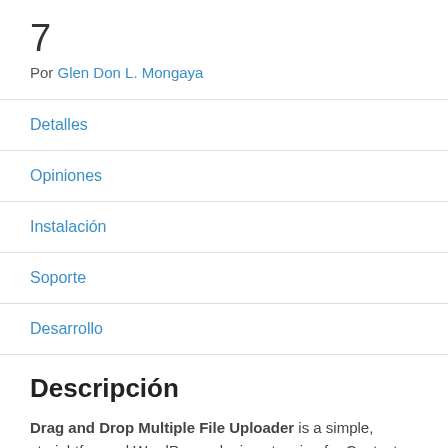7
Por Glen Don L. Mongaya
Detalles
Opiniones
Instalación
Soporte
Desarrollo
Descripción
Drag and Drop Multiple File Uploader is a simple, straightforward WordPress plugin extension for Contact Form7, which allows the user to upload multiple files using the drag and drop feature on the